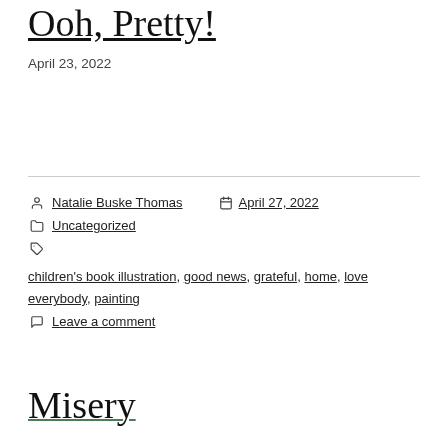Ooh, Pretty!
April 23, 2022
Natalie Buske Thomas   April 27, 2022
Uncategorized
children's book illustration, good news, grateful, home, love everybody, painting
Leave a comment
Misery